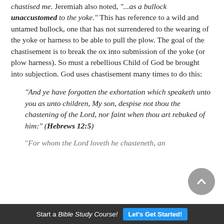chastised me. Jeremiah also noted, ...as a bullock unaccustomed to the yoke. This has reference to a wild and untamed bullock, one that has not surrendered to the wearing of the yoke or harness to be able to pull the plow. The goal of the chastisement is to break the ox into submission of the yoke (or plow harness). So must a rebellious Child of God be brought into subjection. God uses chastisement many times to do this:
"And ye have forgotten the exhortation which speaketh unto you as unto children, My son, despise not thou the chastening of the Lord, nor faint when thou art rebuked of him:" (Hebrews 12:5)
"For whom the Lord loveth he chasteneth, and...
Start a Bible Study Course! Let's Get Started!